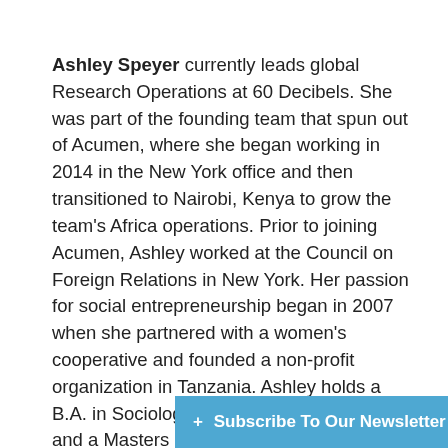Ashley Speyer currently leads global Research Operations at 60 Decibels. She was part of the founding team that spun out of Acumen, where she began working in 2014 in the New York office and then transitioned to Nairobi, Kenya to grow the team's Africa operations. Prior to joining Acumen, Ashley worked at the Council on Foreign Relations in New York. Her passion for social entrepreneurship began in 2007 when she partnered with a women's cooperative and founded a non-profit organization in Tanzania. Ashley holds a B.A. in Sociology from Colorado College and a Masters in Social Business and Entrepreneurship... of Economics...
+ Subscribe To Our Newsletter